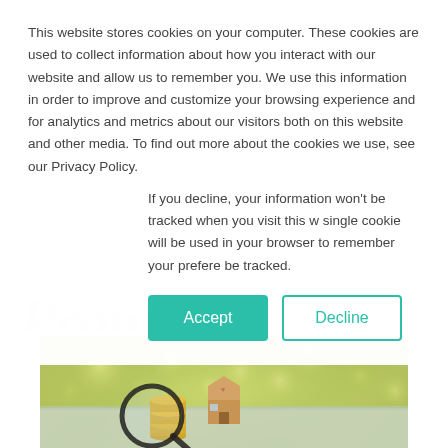This website stores cookies on your computer. These cookies are used to collect information about how you interact with our website and allow us to remember you. We use this information in order to improve and customize your browsing experience and for analytics and metrics about our visitors both on this website and other media. To find out more about the cookies we use, see our Privacy Policy.
If you decline, your information won't be tracked when you visit this w single cookie will be used in your browser to remember your prefere be tracked.
[Figure (screenshot): Accept and Decline cookie consent buttons. Accept is a teal/green filled button. Decline is a white button with teal border and text.]
Property...
[Figure (photo): A photo showing a magnifying glass over stacked coins and a small wooden house model on a light surface, with blurred green bokeh background. A real estate / property search concept image.]